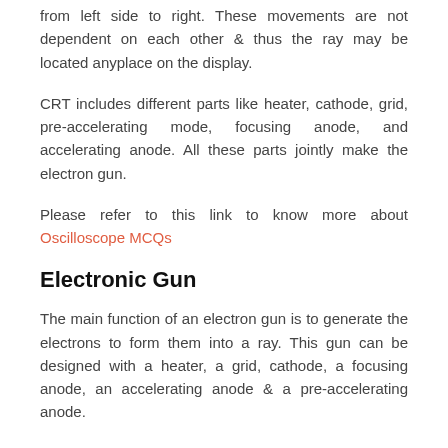from left side to right. These movements are not dependent on each other & thus the ray may be located anyplace on the display.
CRT includes different parts like heater, cathode, grid, pre-accelerating mode, focusing anode, and accelerating anode. All these parts jointly make the electron gun.
Please refer to this link to know more about Oscilloscope MCQs
Electronic Gun
The main function of an electron gun is to generate the electrons to form them into a ray. This gun can be designed with a heater, a grid, cathode, a focusing anode, an accelerating anode & a pre-accelerating anode.